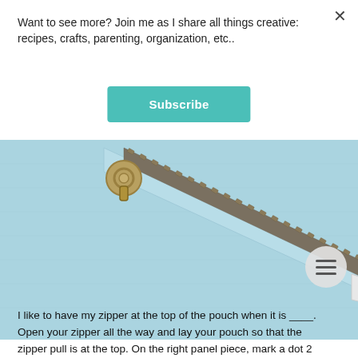Want to see more? Join me as I share all things creative: recipes, crafts, parenting, organization, etc..
Subscribe
[Figure (photo): Close-up photo of a bronze/antique zipper pull on light blue fabric pouch, zipper running diagonally from upper-left to lower-right]
I like to have my zipper at the top of the pouch when it is ___. Open your zipper all the way and lay your pouch so that the zipper pull is at the top. On the right panel piece, mark a dot 2